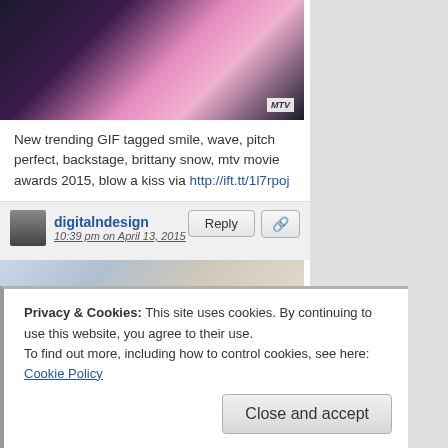[Figure (photo): Screenshot of a video or GIF showing a person in a pink dress on a stage, with MTV logo watermark in bottom right]
New trending GIF tagged smile, wave, pitch perfect, backstage, brittany snow, mtv movie awards 2015, blow a kiss via http://ift.tt/1l7rpoj
digitalndesign
10:39 pm on April 13, 2015
[Figure (screenshot): Screenshot from a movie/show showing two women facing each other, one speaking with mouth open, wearing a dark blazer with yellow scarf, colorful decorations on wall in background]
Privacy & Cookies: This site uses cookies. By continuing to use this website, you agree to their use.
To find out more, including how to control cookies, see here: Cookie Policy
Close and accept